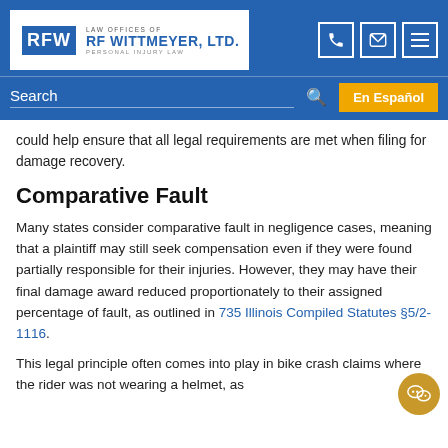RF WITTMEYER, LTD. | LAW OFFICES OF RF WITTMEYER, LTD. PERSONAL INJURY LAW
could help ensure that all legal requirements are met when filing for damage recovery.
Comparative Fault
Many states consider comparative fault in negligence cases, meaning that a plaintiff may still seek compensation even if they were found partially responsible for their injuries. However, they may have their final damage award reduced proportionately to their assigned percentage of fault, as outlined in 735 Illinois Compiled Statutes §5/2-1116.
This legal principle often comes into play in bike crash claims where the rider was not wearing a helmet, as